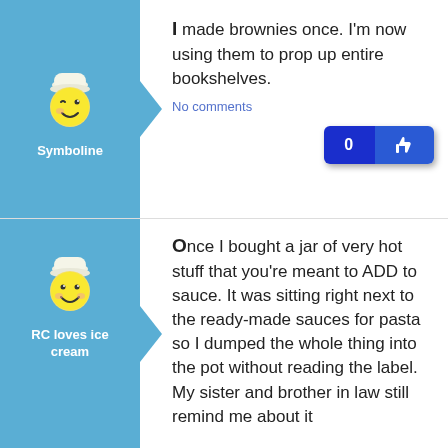[Figure (illustration): Mascot avatar - yellow chef/snowman smiley face with wink, white chef hat, on blue background, username 'Symboline' below]
I made brownies once. I'm now using them to prop up entire bookshelves.
No comments
[Figure (illustration): Like button with count 0 and thumbs up icon, dark blue rounded rectangle]
[Figure (illustration): Mascot avatar - yellow chef/snowman smiley face, white chef hat, on blue background, username 'RC loves ice cream' below]
Once I bought a jar of very hot stuff that you're meant to ADD to sauce. It was sitting right next to the ready-made sauces for pasta so I dumped the whole thing into the pot without reading the label. My sister and brother in law still remind me about it